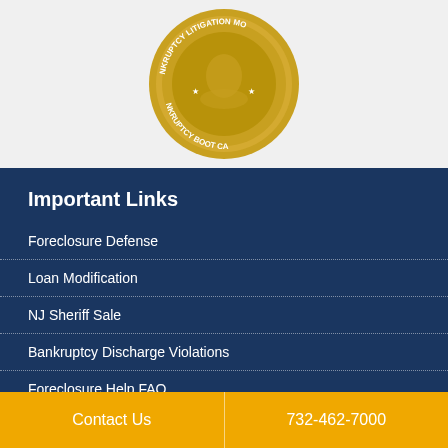[Figure (logo): Gold medal/seal with text 'BANKRUPTCY LITIGATION MO... NKRUPTCY BOOT CA...' around the edge, partially visible at top of page]
Important Links
Foreclosure Defense
Loan Modification
NJ Sheriff Sale
Bankruptcy Discharge Violations
Foreclosure Help FAQ
NJ Sheriff Sale Timeline
Contact Us   732-462-7000